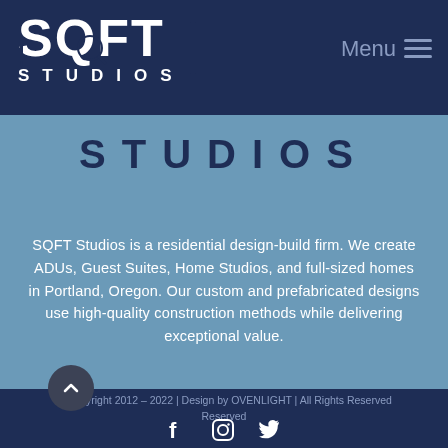[Figure (logo): SQFT Studios logo - white text on dark navy background showing 'SQFT' in large bold letters with tool icons, and 'STUDIOS' in spaced capitals below]
Menu ≡
STUDIOS
SQFT Studios is a residential design-build firm. We create ADUs, Guest Suites, Home Studios, and full-sized homes in Portland, Oregon. Our custom and prefabricated designs use high-quality construction methods while delivering exceptional value.
© Copyright 2012 – 2022 | Design by OVENLIGHT | All Rights Reserved